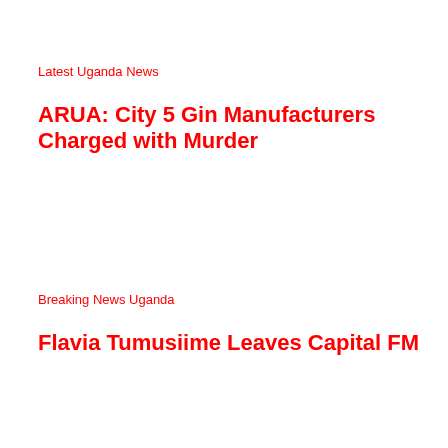Latest Uganda News
ARUA: City 5 Gin Manufacturers Charged with Murder
Breaking News Uganda
Flavia Tumusiime Leaves Capital FM